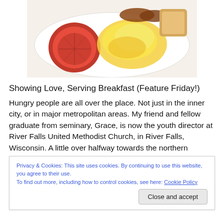[Figure (photo): A plate of breakfast food including a roasted tomato half, scrambled eggs, sausages, and toast on a white plate.]
Showing Love, Serving Breakfast (Feature Friday!)
Hungry people are all over the place. Not just in the inner city, or in major metropolitan areas. My friend and fellow graduate from seminary, Grace, is now the youth director at River Falls United Methodist Church, in River Falls, Wisconsin. A little over halfway towards the northern
Privacy & Cookies: This site uses cookies. By continuing to use this website, you agree to their use.
To find out more, including how to control cookies, see here: Cookie Policy
Close and accept